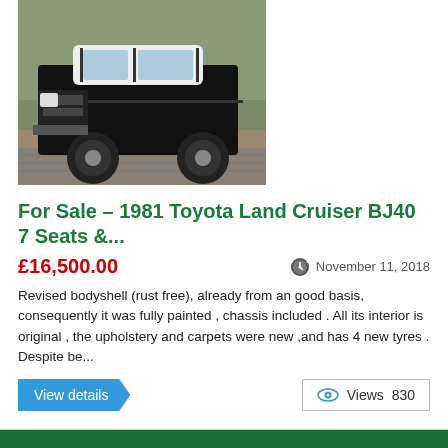[Figure (photo): Black 1981 Toyota Land Cruiser BJ40 parked on cobblestones, front three-quarter view]
For Sale – 1981 Toyota Land Cruiser BJ40 7 Seats &...
£16,500.00
November 11, 2018
Revised bodyshell (rust free), already from an good basis, consequently it was fully painted , chassis included . All its interior is original , the upholstery and carpets were new ,and has 4 new tyres . Despite be...
View details
Views 830
Classic Cars (showing 1 to 19 of 258)
Sort by: Latest   View: 10 per page
1 2 3 ... 14 Next